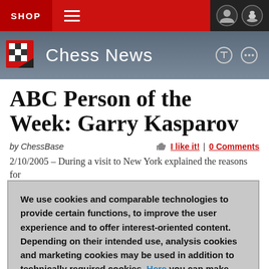SHOP | Chess News
ABC Person of the Week: Garry Kasparov
by ChessBase   I like it! | 0 Comments
2/10/2005 – During a visit to New York explained the reasons for
We use cookies and comparable technologies to provide certain functions, to improve the user experience and to offer interest-oriented content. Depending on their intended use, analysis cookies and marketing cookies may be used in addition to technically required cookies. Here you can make detailed settings or revoke your consent (if necessary partially) with effect for the future. Further information can be found in our data protection declaration.